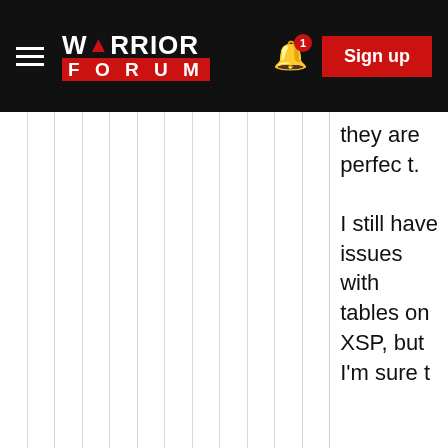[Figure (logo): Warrior Forum navigation bar with hamburger menu, Warrior Forum logo, bell notification icon with badge '1', and red Sign up button]
they are perfect.

I still have issues with tables on XSP, but I'm sure t...